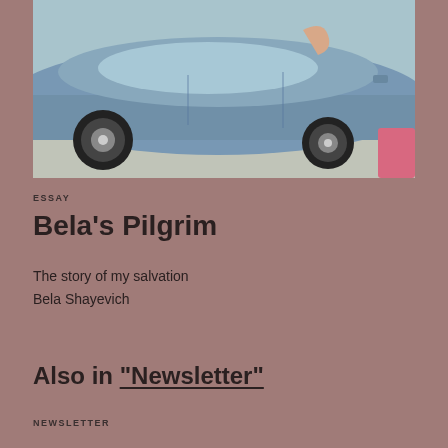[Figure (photo): Photograph of a pale blue/light blue car from the side, showing the car body, windows, wheels, and a pink accent in the lower right corner. The ground is visible below the car.]
ESSAY
Bela's Pilgrim
The story of my salvation
Bela Shayevich
Also in “Newsletter”
NEWSLETTER